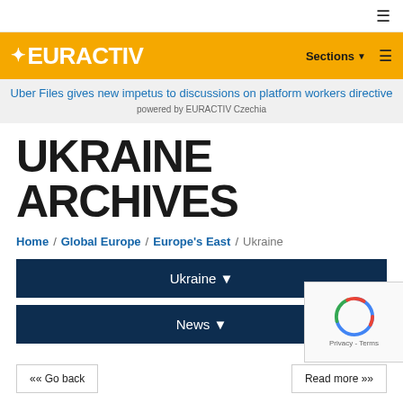≡ (hamburger menu)
[Figure (logo): EURACTIV logo on yellow background with Sections menu and hamburger icon]
Uber Files gives new impetus to discussions on platform workers directive powered by EURACTIV Czechia
UKRAINE ARCHIVES
Home / Global Europe / Europe's East / Ukraine
Ukraine ▾
News ▾
«« Go back
Read more »»
[Figure (other): reCAPTCHA widget with spinning icon and Privacy - Terms text]